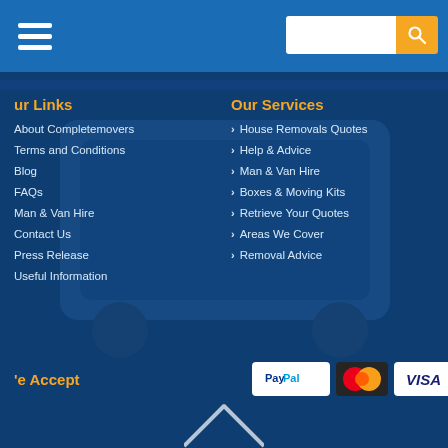Navigation bar with hamburger menu and search
ur Links
Our Services
About Completemovers
Terms and Conditions
Blog
FAQs
Man & Van Hire
Contact Us
Press Release
Useful Information
> House Removals Quotes
> Help & Advice
> Man & Van Hire
> Boxes & Moving Kits
> Retrieve Your Quotes
> Areas We Cover
> Removal Advice
'e Accept
[Figure (logo): PayPal, MasterCard, and VISA payment logos]